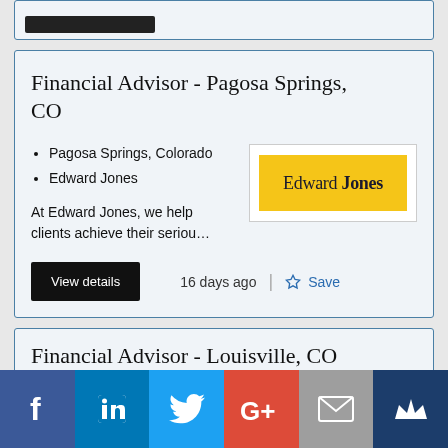[Figure (screenshot): Top partial job listing card with a black bar (redacted content)]
Financial Advisor - Pagosa Springs, CO
Pagosa Springs, Colorado
Edward Jones
At Edward Jones, we help clients achieve their seriou...
[Figure (logo): Edward Jones logo — yellow background with 'Edward Jones' text in dark blue/black serif font]
View details
16 days ago
Save
Financial Advisor - Louisville, CO
[Figure (infographic): Social media share bar with Facebook, LinkedIn, Twitter, Google+, Email, and Crown icons]